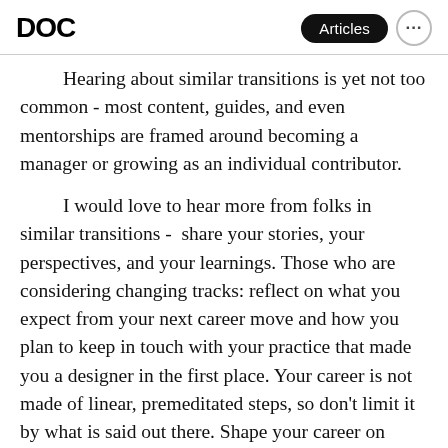DOC | Articles ...
Hearing about similar transitions is yet not too common - most content, guides, and even mentorships are framed around becoming a manager or growing as an individual contributor.

I would love to hear more from folks in similar transitions -  share your stories, your perspectives, and your learnings. Those who are considering changing tracks: reflect on what you expect from your next career move and how you plan to keep in touch with your practice that made you a designer in the first place. Your career is not made of linear, premeditated steps, so don't limit it by what is said out there. Shape your career on learning and moving forward toward what you want to do in this world.